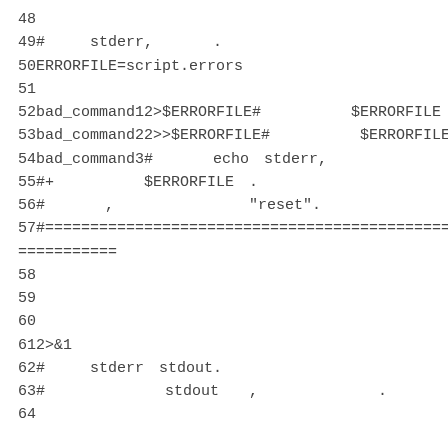48
49#   stderr,　　　　.
50ERRORFILE=script.errors
51
52bad_command12>$ERRORFILE#      $ERRORFILE　.
53bad_command22>>$ERRORFILE#      $ERRORFILE　.
54bad_command3#    echo　stderr,
55#+      $ERRORFILE　.
56#    ,         "reset".
57#==============================================
===========
58
59
60
612>&1
62#   stderr　stdout.
63#        stdout  ,        .
64